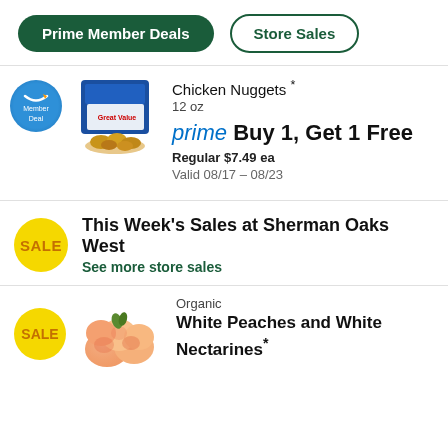Prime Member Deals | Store Sales
Chicken Nuggets * 12 oz
[Figure (photo): Box of chicken nuggets with nuggets displayed on a plate in front]
prime Buy 1, Get 1 Free
Regular $7.49 ea
Valid 08/17 – 08/23
This Week's Sales at Sherman Oaks West
See more store sales
Organic
White Peaches and White Nectarines*
[Figure (photo): Pile of white peaches and white nectarines]